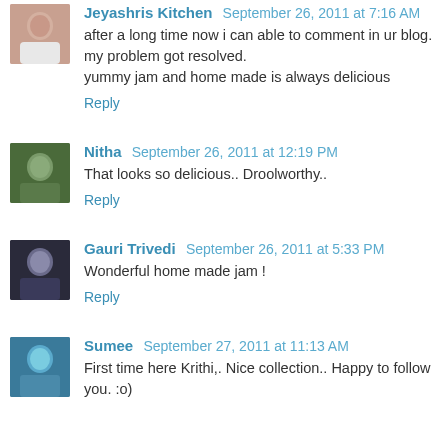Jeyashris Kitchen September 26, 2011 at 7:16 AM
after a long time now i can able to comment in ur blog. my problem got resolved.
yummy jam and home made is always delicious
Reply
Nitha September 26, 2011 at 12:19 PM
That looks so delicious.. Droolworthy..
Reply
Gauri Trivedi September 26, 2011 at 5:33 PM
Wonderful home made jam !
Reply
Sumee September 27, 2011 at 11:13 AM
First time here Krithi,. Nice collection.. Happy to follow you. :o)